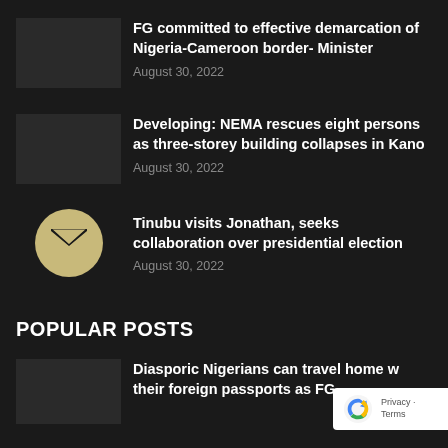FG committed to effective demarcation of Nigeria-Cameroon border- Minister
August 30, 2022
Developing: NEMA rescues eight persons as three-storey building collapses in Kano
August 30, 2022
Tinubu visits Jonathan, seeks collaboration over presidential election
August 30, 2022
POPULAR POSTS
Diasporic Nigerians can travel home with their foreign passports as FG...